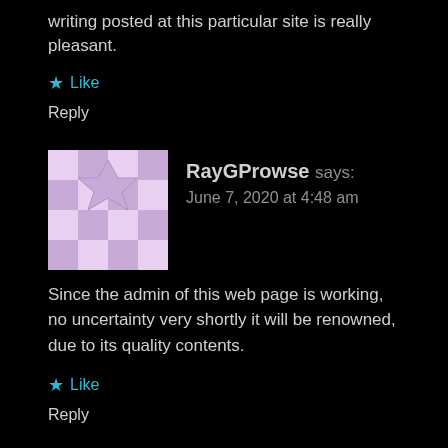writing posted at this particular site is really pleasant.
★ Like
Reply
RayGProwse says:
June 7, 2020 at 4:48 am
Since the admin of this web page is working, no uncertainty very shortly it will be renowned, due to its quality contents.
★ Like
Reply
ShalaRCozart says:
June 7, 2020 at 8:01 am
Howdy! This post could not be written any better! Experiencing